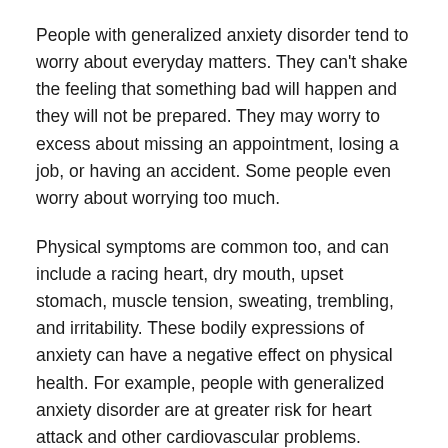People with generalized anxiety disorder tend to worry about everyday matters. They can't shake the feeling that something bad will happen and they will not be prepared. They may worry to excess about missing an appointment, losing a job, or having an accident. Some people even worry about worrying too much.
Physical symptoms are common too, and can include a racing heart, dry mouth, upset stomach, muscle tension, sweating, trembling, and irritability. These bodily expressions of anxiety can have a negative effect on physical health. For example, people with generalized anxiety disorder are at greater risk for heart attack and other cardiovascular problems.
Taming anxiety